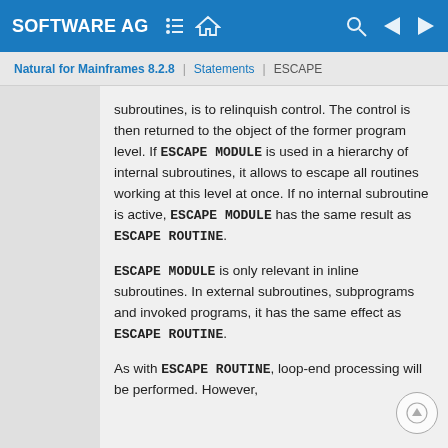SOFTWARE AG | Navigation icons | Search
Natural for Mainframes 8.2.8 | Statements | ESCAPE
subroutines, is to relinquish control. The control is then returned to the object of the former program level. If ESCAPE MODULE is used in a hierarchy of internal subroutines, it allows to escape all routines working at this level at once. If no internal subroutine is active, ESCAPE MODULE has the same result as ESCAPE ROUTINE.
ESCAPE MODULE is only relevant in inline subroutines. In external subroutines, subprograms and invoked programs, it has the same effect as ESCAPE ROUTINE.
As with ESCAPE ROUTINE, loop-end processing will be performed. However,